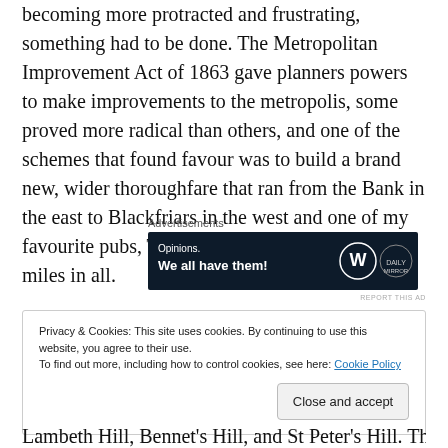becoming more protracted and frustrating, something had to be done. The Metropolitan Improvement Act of 1863 gave planners powers to make improvements to the metropolis, some proved more radical than others, and one of the schemes that found favour was to build a brand new, wider thoroughfare that ran from the Bank in the east to Blackfriars in the west and one of my favourite pubs, The Blackfriars, a distance of 0.7 miles in all.
[Figure (screenshot): Advertisement banner with dark navy background reading 'Opinions. We all have them!' with WordPress and Daily Mirror logos on the right.]
Privacy & Cookies: This site uses cookies. By continuing to use this website, you agree to their use. To find out more, including how to control cookies, see here: Cookie Policy
Lambeth Hill, Bennet's Hill, and St Peter's Hill. The cost of the